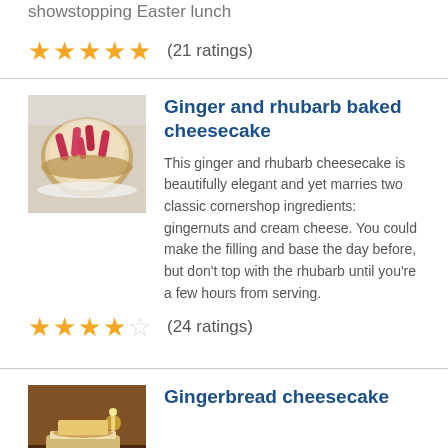showstopping Easter lunch
★★★★★ (21 ratings)
[Figure (photo): Photo of ginger and rhubarb baked cheesecake on a white cake stand]
Ginger and rhubarb baked cheesecake
This ginger and rhubarb cheesecake is beautifully elegant and yet marries two classic cornershop ingredients: gingernuts and cream cheese. You could make the filling and base the day before, but don't top with the rhubarb until you're a few hours from serving.
★★★★☆ (24 ratings)
[Figure (photo): Photo of gingerbread cheesecake]
Gingerbread cheesecake